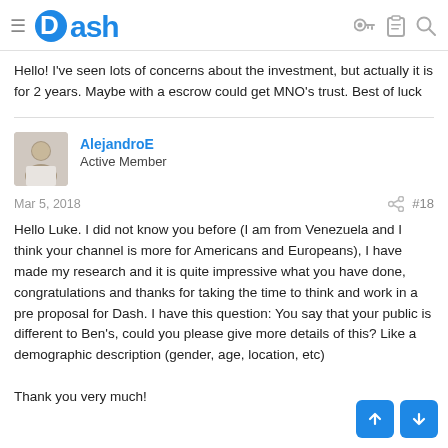Dash
Hello! I've seen lots of concerns about the investment, but actually it is for 2 years. Maybe with a escrow could get MNO's trust. Best of luck
AlejandroE
Active Member
Mar 5, 2018   #18
Hello Luke. I did not know you before (I am from Venezuela and I think your channel is more for Americans and Europeans), I have made my research and it is quite impressive what you have done, congratulations and thanks for taking the time to think and work in a pre proposal for Dash. I have this question: You say that your public is different to Ben's, could you please give more details of this? Like a demographic description (gender, age, location, etc)

Thank you very much!